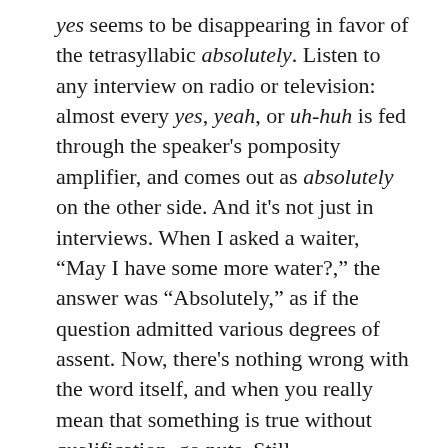yes seems to be disappearing in favor of the tetrasyllabic absolutely. Listen to any interview on radio or television: almost every yes, yeah, or uh-huh is fed through the speaker's pomposity amplifier, and comes out as absolutely on the other side. And it's not just in interviews. When I asked a waiter, “May I have some more water?,” the answer was “Absolutely,” as if the question admitted various degrees of assent. Now, there's nothing wrong with the word itself, and when you really mean that something is true without qualification, go nuts. Still,